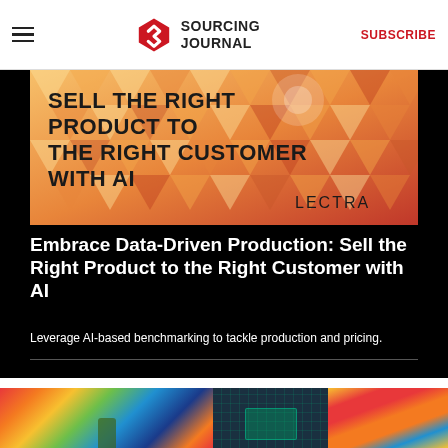SOURCING JOURNAL | SUBSCRIBE
[Figure (photo): Lectra branded promotional banner showing geometric triangle pattern background in orange/red/yellow with text 'SELL THE RIGHT PRODUCT TO THE RIGHT CUSTOMER WITH AI' and Lectra logo]
Embrace Data-Driven Production: Sell the Right Product to the Right Customer with AI
Leverage AI-based benchmarking to tackle production and pricing.
[Figure (photo): Three images in a grid row: colorful fabric/textiles with a person in green, a circuit board closeup, and colorful diagonal stripes]